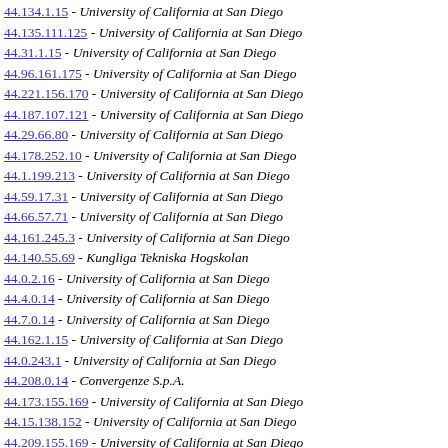44.134.1.15 - University of California at San Diego
44.135.111.125 - University of California at San Diego
44.31.1.15 - University of California at San Diego
44.96.161.175 - University of California at San Diego
44.221.156.170 - University of California at San Diego
44.187.107.121 - University of California at San Diego
44.29.66.80 - University of California at San Diego
44.178.252.10 - University of California at San Diego
44.1.199.213 - University of California at San Diego
44.59.17.31 - University of California at San Diego
44.66.57.71 - University of California at San Diego
44.161.245.3 - University of California at San Diego
44.140.55.69 - Kungliga Tekniska Hogskolan
44.0.2.16 - University of California at San Diego
44.4.0.14 - University of California at San Diego
44.7.0.14 - University of California at San Diego
44.162.1.15 - University of California at San Diego
44.0.243.1 - University of California at San Diego
44.208.0.14 - Convergenze S.p.A.
44.173.155.169 - University of California at San Diego
44.15.138.152 - University of California at San Diego
44.209.155.169 - University of California at San Diego
44.43.193.207 - University of California at San Diego
44.100.240.254 - University of California at San Diego
44.94.11.25 - University of California at San Diego
44.22.88.102 - University of California at San Diego
44.125.11.25 - University of California at San Diego
44.121.101.115 - University of California at San Diego
44.45.0.14 - University of California at San Diego
44.44.187.201 - University of California at San Diego
44.144.0.14 - University of California at San Diego